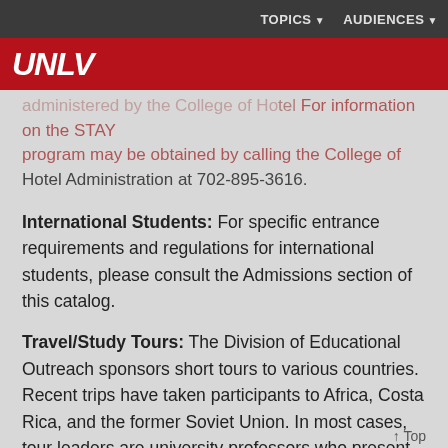TOPICS  AUDIENCES
UNLV
administered by the College of Hotel Administration and. For information on the STAY program may be obtained by calling the College of Hotel Administration at 702-895-3616.
International Students: For specific entrance requirements and regulations for international students, please consult the Admissions section of this catalog.
Travel/Study Tours: The Division of Educational Outreach sponsors short tours to various countries. Recent trips have taken participants to Africa, Costa Rica, and the former Soviet Union. In most cases, tour leaders are university professors who present lectures prior to departure on the culture, geography, and natural history of the areas being visited.
↑ Top